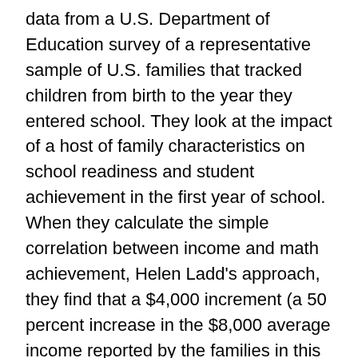data from a U.S. Department of Education survey of a representative sample of U.S. families that tracked children from birth to the year they entered school. They look at the impact of a host of family characteristics on school readiness and student achievement in the first year of school. When they calculate the simple correlation between income and math achievement, Helen Ladd's approach, they find that a $4,000 increment (a 50 percent increase in the $8,000 average income reported by the families in this study) in the income of the poor family will lift student achievement by 20 percent of a standard deviation (close to a year's worth of learning in the middle years of schooling), a substantial impact that seems to support the Broader, Bolder claims. But when the authors adjust for other factors—race, mother's and father's education, single or two-parent family, smoking during pregnancy, and so forth—the distinctive impact of family income on math achievement drops to just 6.4 percent of a standard deviation. It is better than twice as important for achievement that children living in a low-income family